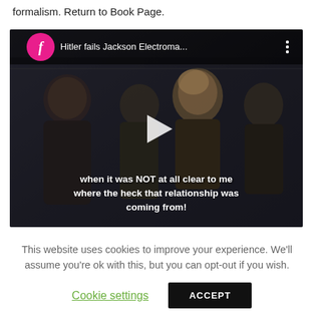formalism. Return to Book Page.
[Figure (screenshot): Embedded video thumbnail showing a scene with several figures in dark uniforms. Video header shows a pink circular Facebook icon with letter 'f', title 'Hitler fails Jackson Electroma...' and a three-dot menu icon. A play button triangle is centered on the image. White subtitle text reads: 'when it was NOT at all clear to me where the heck that relationship was coming from!']
This website uses cookies to improve your experience. We'll assume you're ok with this, but you can opt-out if you wish.
Cookie settings
ACCEPT